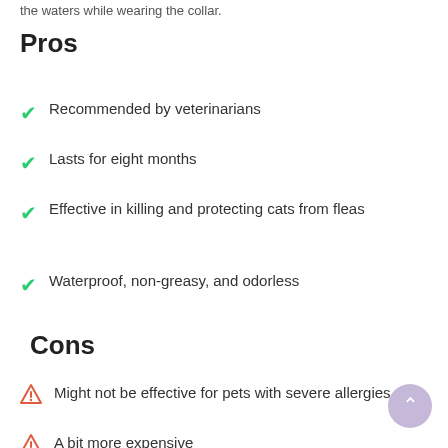the waters while wearing the collar.
Pros
Recommended by veterinarians
Lasts for eight months
Effective in killing and protecting cats from fleas
Waterproof, non-greasy, and odorless
Cons
Might not be effective for pets with severe allergies
A bit more expensive